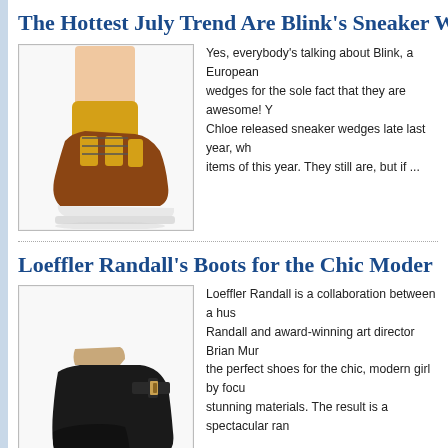The Hottest July Trend Are Blink’s Sneaker W…
[Figure (photo): Photo of mustard yellow and brown sneaker wedge shoes with laces]
Yes, everybody’s talking about Blink, a European… wedges for the sole fact that they are awesome! Y… Chloe released sneaker wedges late last year, wh… items of this year. They still are, but if ...
Loeffler Randall’s Boots for the Chic Moder…
[Figure (photo): Photo of black leather wedge boot/clog with buckle strap]
Loeffler Randall is a collaboration between a hus… Randall and award-winning art director Brian Mur… the perfect shoes for the chic, modern girl by focu… stunning materials. The result is a spectacular ran…
Five Fall Booties You Can Start Wearing No…